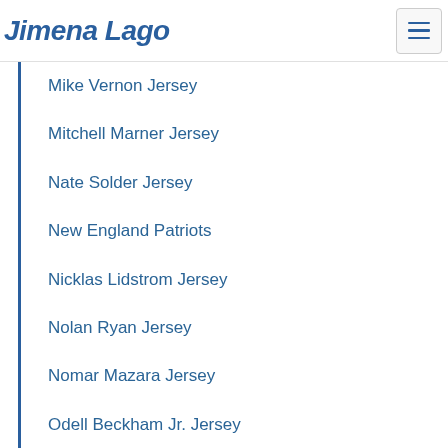Jimena Lago
Mike Vernon Jersey
Mitchell Marner Jersey
Nate Solder Jersey
New England Patriots
Nicklas Lidstrom Jersey
Nolan Ryan Jersey
Nomar Mazara Jersey
Odell Beckham Jr. Jersey
Oklahoma City Thunder Jersey
Ozzie Smith Jersey